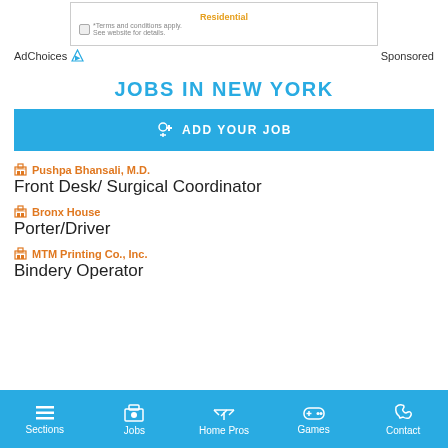[Figure (other): Advertisement banner with 'Residential' text in orange and terms and conditions note]
AdChoices  Sponsored
JOBS IN NEW YORK
ADD YOUR JOB
Pushpa Bhansali, M.D. — Front Desk/ Surgical Coordinator
Bronx House — Porter/Driver
MTM Printing Co., Inc. — Bindery Operator
Sections  Jobs  Home Pros  Games  Contact